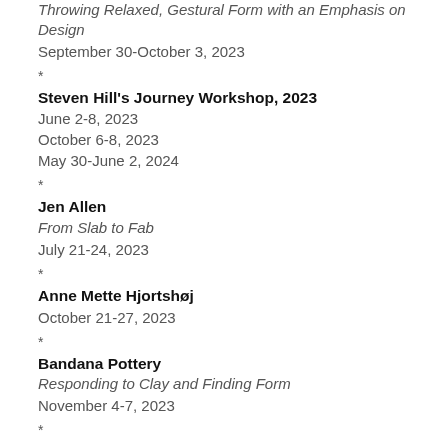Throwing Relaxed, Gestural Form with an Emphasis on Design
September 30-October 3, 2023
*
Steven Hill's Journey Workshop, 2023
June 2-8, 2023
October 6-8, 2023
May 30-June 2, 2024
*
Jen Allen
From Slab to Fab
July 21-24, 2023
*
Anne Mette Hjortshøj
October 21-27, 2023
*
Bandana Pottery
Responding to Clay and Finding Form
November 4-7, 2023
*